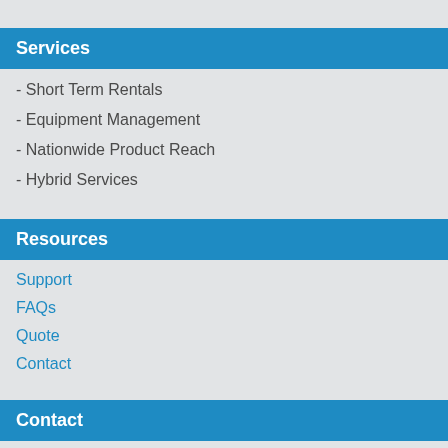Services
- Short Term Rentals
- Equipment Management
- Nationwide Product Reach
- Hybrid Services
Resources
Support
FAQs
Quote
Contact
Contact